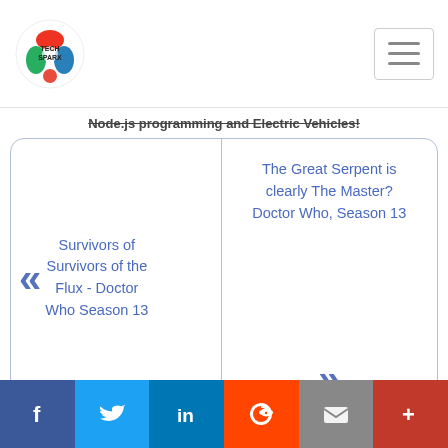TechSparx logo and hamburger menu
Node.js programming and Electric Vehicles!
Survivors of Survivors of the Flux - Doctor Who Season 13
The Great Serpent is clearly The Master? Doctor Who, Season 13
[Figure (screenshot): Udemy advertisement banner: THE DATA SCIENCE CO... Complete Data Science Bootc... for as low as $10.99.]
ALSO ON TECHSPARX
[Figure (screenshot): Article card thumbnails]
Social share buttons: Facebook, Twitter, LinkedIn, Reddit, Email, More